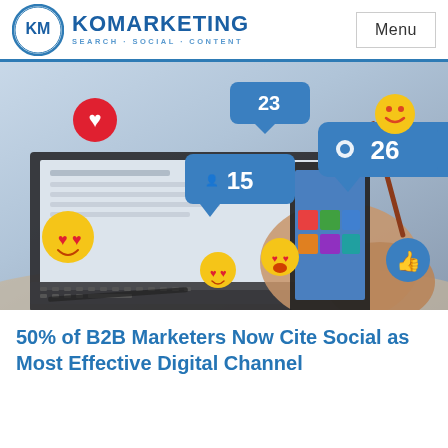KM KOMARKETING SEARCH·SOCIAL·CONTENT | Menu
[Figure (photo): Person holding a smartphone near a laptop, with social media notification icons (heart, follower count 15, message 26, emoji reactions) floating around the screen in a digital marketing context.]
50% of B2B Marketers Now Cite Social as Most Effective Digital Channel